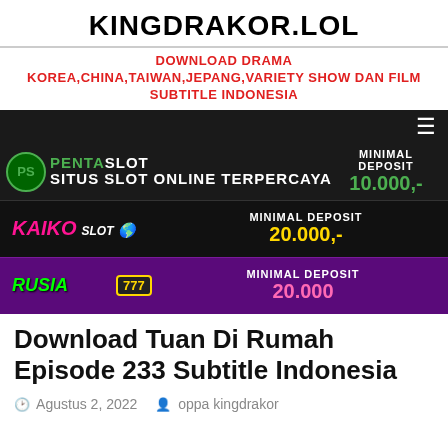KINGDRAKOR.LOL
DOWNLOAD DRAMA KOREA,CHINA,TAIWAN,JEPANG,VARIETY SHOW DAN FILM SUBTITLE INDONESIA
[Figure (screenshot): Dark navigation bar with hamburger menu icon on the right]
[Figure (infographic): Three advertisement banners: PentaSlot minimal deposit 10.000, Kaiko Slot minimal deposit 20.000, Rusia 777 minimal deposit 20.000]
Download Tuan Di Rumah Episode 233 Subtitle Indonesia
Agustus 2, 2022   oppa kingdrakor